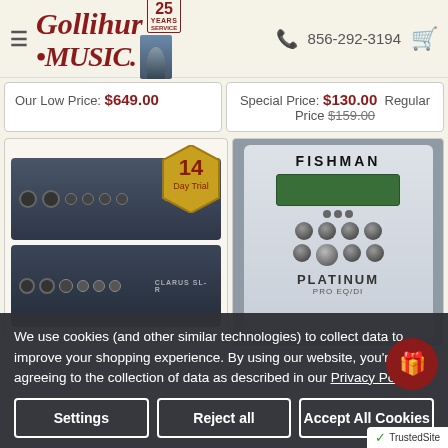Gollihur Music — 856-292-3194
Our Low Price: $649.00
Special Price: $130.00  Regular Price $159.00
[Figure (photo): Acoustic Image Clarus SL and Clarus SL-R amplifier heads stacked, with a 14 Day Trial badge overlay]
[Figure (photo): Fishman Platinum Pro EQ/DI preamp pedal, silver/grey front panel with FISHMAN branding, LCD screen, and multiple knobs]
We use cookies (and other similar technologies) to collect data to improve your shopping experience. By using our website, you're agreeing to the collection of data as described in our Privacy Policy.
Settings
Reject all
Accept All Cookies